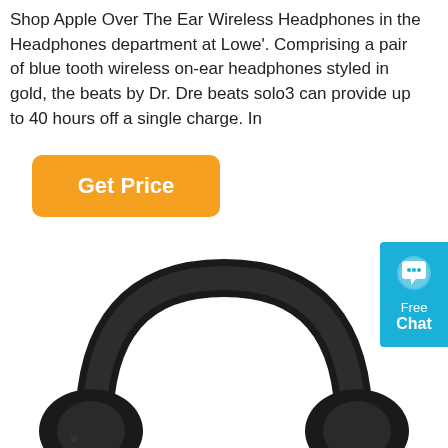Shop Apple Over The Ear Wireless Headphones in the Headphones department at Lowe'. Comprising a pair of blue tooth wireless on-ear headphones styled in gold, the beats by Dr. Dre beats solo3 can provide up to 40 hours off a single charge. In
[Figure (other): Orange 'Get Price' button with rounded corners]
[Figure (other): Blue 'Free Chat' widget on the right side with a speech bubble icon]
[Figure (photo): Photo of black and green over-ear headphones (wireless) shown from a slightly elevated angle against a white background]